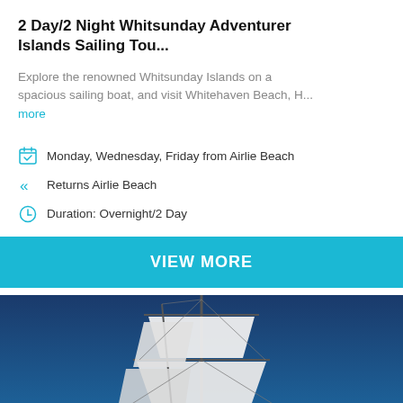2 Day/2 Night Whitsunday Adventurer Islands Sailing Tou...
Explore the renowned Whitsunday Islands on a spacious sailing boat, and visit Whitehaven Beach, H...
more
Monday, Wednesday, Friday from Airlie Beach
Returns Airlie Beach
Duration: Overnight/2 Day
VIEW MORE
[Figure (photo): Tall sailing ship with white sails against a deep blue sky, photographed from below looking up]